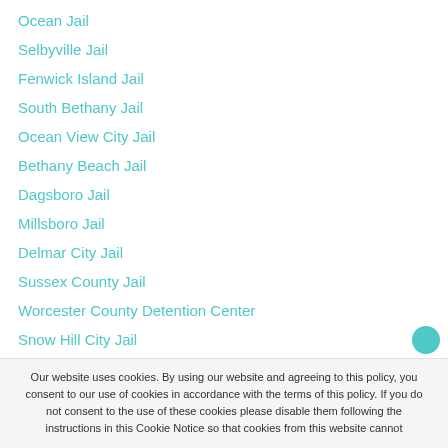Ocean Jail
Selbyville Jail
Fenwick Island Jail
South Bethany Jail
Ocean View City Jail
Bethany Beach Jail
Dagsboro Jail
Millsboro Jail
Delmar City Jail
Sussex County Jail
Worcester County Detention Center
Snow Hill City Jail
Lewes Jail
Dewey Beach City Jail
Our website uses cookies. By using our website and agreeing to this policy, you consent to our use of cookies in accordance with the terms of this policy. If you do not consent to the use of these cookies please disable them following the instructions in this Cookie Notice so that cookies from this website cannot